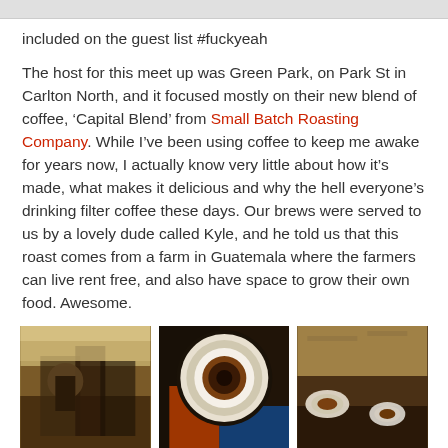included on the guest list #fuckyeah
The host for this meet up was Green Park, on Park St in Carlton North, and it focused mostly on their new blend of coffee, ‘Capital Blend’ from Small Batch Roasting Company. While I’ve been using coffee to keep me awake for years now, I actually know very little about how it’s made, what makes it delicious and why the hell everyone’s drinking filter coffee these days. Our brews were served to us by a lovely dude called Kyle, and he told us that this roast comes from a farm in Guatemala where the farmers can live rent free, and also have space to grow their own food. Awesome.
[Figure (photo): Interior of a cafe with a barista or person visible, warm tones]
[Figure (photo): Top-down view of a coffee cup on colorful books or surfaces]
[Figure (photo): Table scene with multiple coffee cups and glasses]